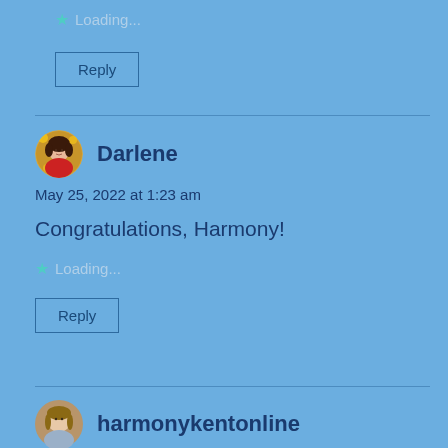Loading...
Reply
Darlene
May 25, 2022 at 1:23 am
Congratulations, Harmony!
Loading...
Reply
harmonykentonline